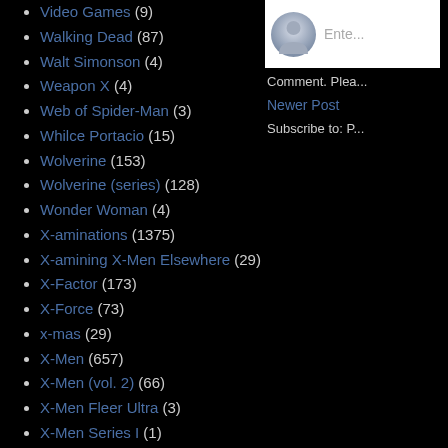Video Games (9)
Walking Dead (87)
Walt Simonson (4)
Weapon X (4)
Web of Spider-Man (3)
Whilce Portacio (15)
Wolverine (153)
Wolverine (series) (128)
Wonder Woman (4)
X-aminations (1375)
X-amining X-Men Elsewhere (29)
X-Factor (173)
X-Force (73)
x-mas (29)
X-Men (657)
X-Men (vol. 2) (66)
X-Men Fleer Ultra (3)
X-Men Series I (1)
X-Men Series II (1)
X-Men Unlimited (13)
X-Terminators (1)
[Figure (screenshot): Sidebar avatar icon with Enter comment placeholder text]
Comment. Plea...
Newer Post
Subscribe to: P...